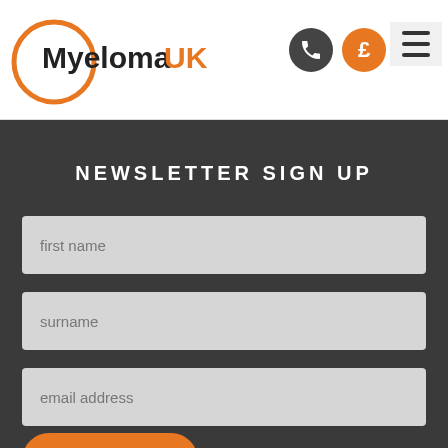[Figure (logo): Myeloma UK logo with orange circle outline and black/orange text]
NEWSLETTER SIGN UP
first name
surname
email address
SIGN UP NOW